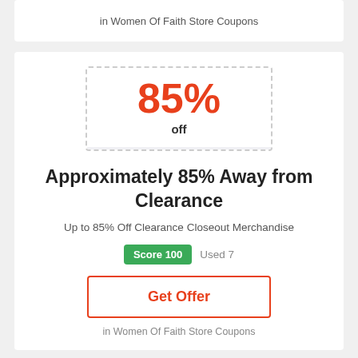in Women Of Faith Store Coupons
85%
off
Sale
Approximately 85% Away from Clearance
Up to 85% Off Clearance Closeout Merchandise
Score 100   Used 7
Get Offer
in Women Of Faith Store Coupons